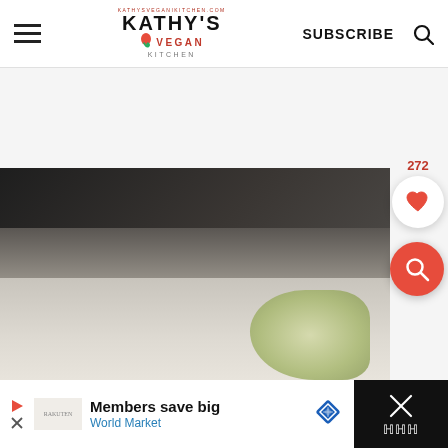Kathy's Vegan Kitchen — SUBSCRIBE
[Figure (photo): Blurred food photograph showing a dark background with a light-colored dish, partially visible at the bottom of the page]
[Figure (infographic): Save/heart button with count 272 and a red search button overlaid on the food photo]
Members save big — World Market (advertisement)